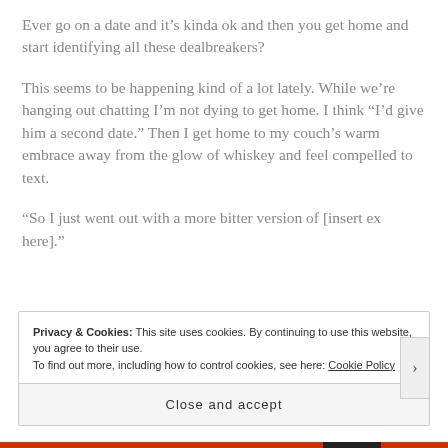Ever go on a date and it's kinda ok and then you get home and start identifying all these dealbreakers?
This seems to be happening kind of a lot lately. While we're hanging out chatting I'm not dying to get home. I think “I'd give him a second date.” Then I get home to my couch's warm embrace away from the glow of whiskey and feel compelled to text.
“So I just went out with a more bitter version of [insert ex here].”
Privacy & Cookies: This site uses cookies. By continuing to use this website, you agree to their use.
To find out more, including how to control cookies, see here: Cookie Policy
Close and accept